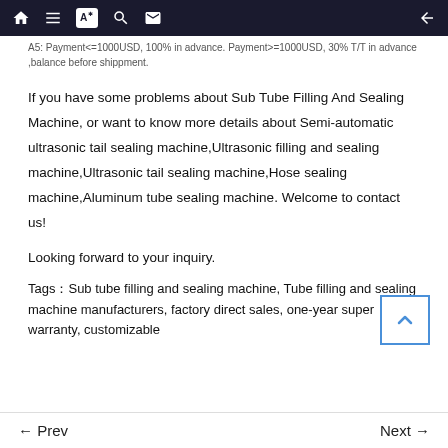Navigation bar (home, list, font, search, mail, back icons)
A5: Payment<=1000USD, 100% in advance. Payment>=1000USD, 30% T/T in advance ,balance before shippment.
If you have some problems about Sub Tube Filling And Sealing Machine, or want to know more details about Semi-automatic ultrasonic tail sealing machine,Ultrasonic filling and sealing machine,Ultrasonic tail sealing machine,Hose sealing machine,Aluminum tube sealing machine. Welcome to contact us!
Looking forward to your inquiry.
Tags：Sub tube filling and sealing machine, Tube filling and sealing machine manufacturers, factory direct sales, one-year super warranty, customizable
← Prev    Next →